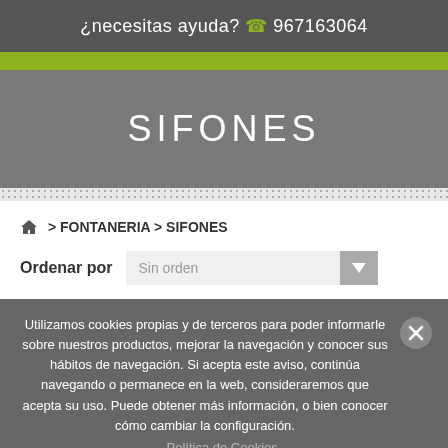¿necesitas ayuda? 967163064
SIFONES
> FONTANERIA > SIFONES
Ordenar por  Sin orden
Utilizamos cookies propias y de terceros para poder informarle sobre nuestros productos, mejorar la navegación y conocer sus hábitos de navegación. Si acepta este aviso, continúa navegando o permanece en la web, consideraremos que acepta su uso. Puede obtener más información, o bien conocer cómo cambiar la configuración.
Política de Cookies.